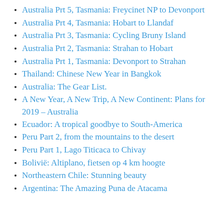Australia Prt 5, Tasmania: Freycinet NP to Devonport
Australia Prt 4, Tasmania: Hobart to Llandaf
Australia Prt 3, Tasmania: Cycling Bruny Island
Australia Prt 2, Tasmania: Strahan to Hobart
Australia Prt 1, Tasmania: Devonport to Strahan
Thailand: Chinese New Year in Bangkok
Australia: The Gear List.
A New Year, A New Trip, A New Continent: Plans for 2019 – Australia
Ecuador: A tropical goodbye to South-America
Peru Part 2, from the mountains to the desert
Peru Part 1, Lago Titicaca to Chivay
Bolivië: Altiplano, fietsen op 4 km hoogte
Northeastern Chile: Stunning beauty
Argentina: The Amazing Puna de Atacama